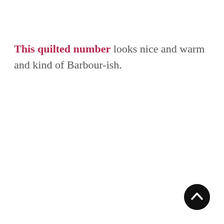This quilted number looks nice and warm and kind of Barbour-ish.
[Figure (other): A circular black button/icon with an upward-pointing chevron arrow in white, used as a back-to-top navigation button.]